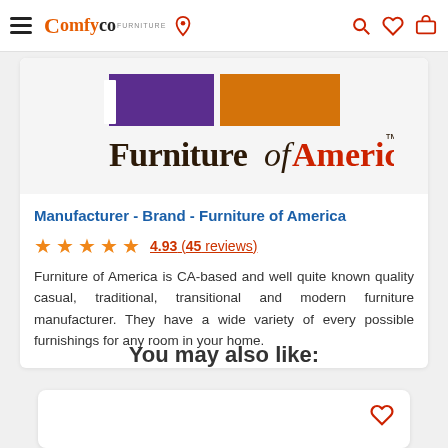Comfyco — navigation bar with hamburger, logo, location pin, search, wishlist, cart
[Figure (logo): Furniture of America brand logo — purple and orange rectangular graphic mark above the text 'Furniture of America™' with 'Furniture of' in dark serif and 'America' in red serif]
Manufacturer - Brand - Furniture of America
4.93 (45 reviews) — 5 star rating
Furniture of America is CA-based and well quite known quality casual, traditional, transitional and modern furniture manufacturer. They have a wide variety of every possible furnishings for any room in your home.
You may also like: